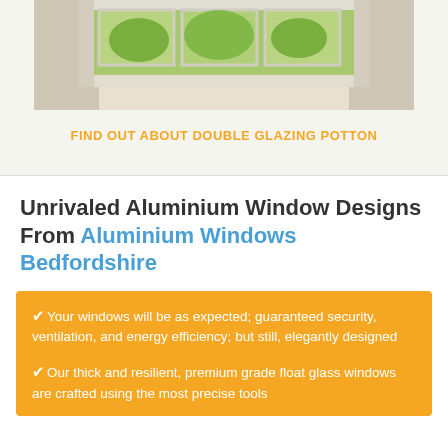[Figure (photo): Photo of a window with white curtains draped on either side, showing a green outdoor view through the glass panes]
FIND OUT ABOUT DOUBLE GLAZING POTTON
Unrivaled Aluminium Window Designs From Aluminium Windows Bedfordshire
Your windows will be as expected; guaranteed security, ventilation, and energy efficiency; but still, elegantly designed
Our thick and resilient, premium grade float glass windows are crafted using the most precise tools